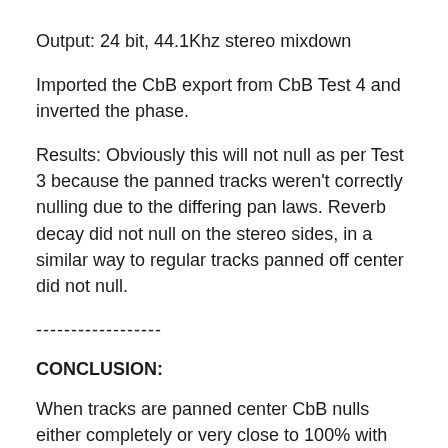Output: 24 bit, 44.1Khz stereo mixdown
Imported the CbB export from CbB Test 4 and inverted the phase.
Results: Obviously this will not null as per Test 3 because the panned tracks weren't correctly nulling due to the differing pan laws. Reverb decay did not null on the stereo sides, in a similar way to regular tracks panned off center did not null.
------------------
CONCLUSION:
When tracks are panned center CbB nulls either completely or very close to 100% with REAPER. The minor difference betwen multitrack mixes can be down to rounding (ie: the exported files were 24 bit / 44.1Khz vs an internal 32 bit or 64 bit mixing engine. so the more tracks imported. the more